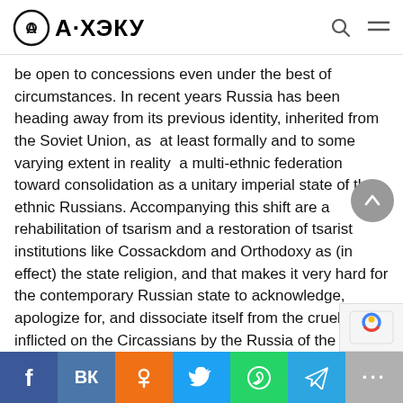А·ХЭКУ
be open to concessions even under the best of circumstances. In recent years Russia has been heading away from its previous identity, inherited from the Soviet Union, as  at least formally and to some varying extent in reality  a multi-ethnic federation toward consolidation as a unitary imperial state of the ethnic Russians. Accompanying this shift are a rehabilitation of tsarism and a restoration of tsarist institutions like Cossackdom and Orthodoxy as (in effect) the state religion, and that makes it very hard for the contemporary Russian state to acknowledge, apologize for, and dissociate itself from the cruelty inflicted on the Circassians by the Russia of the tsars.
f VK OK Twitter WhatsApp Telegram ...